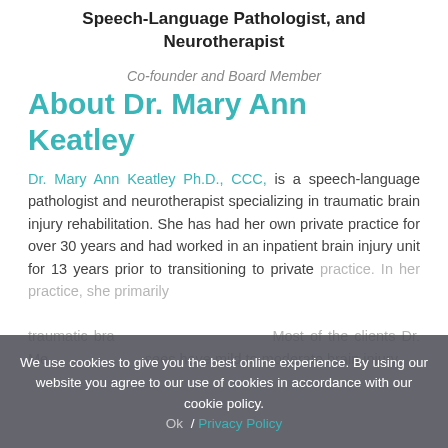Speech-Language Pathologist, and Neurotherapist
Co-founder and Board Member
About Dr. Mary Ann Keatley
Dr. Mary Ann Keatley Ph.D., CCC, is a speech-language pathologist and neurotherapist specializing in traumatic brain injury rehabilitation. She has had her own private practice for over 30 years and had worked in an inpatient brain injury unit for 13 years prior to transitioning to private practice. In her practice, she primarily traumatic brain. Most of the clients Dr. Mary Ann Keatley sees have mild to moderate brain injury.
We use cookies to give you the best online experience. By using our website you agree to our use of cookies in accordance with our cookie policy. Ok / Privacy Policy